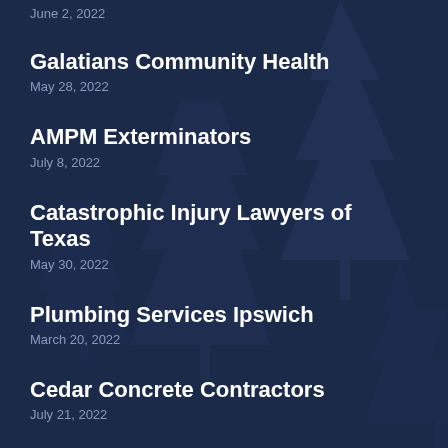June 2, 2022
Galatians Community Health
May 28, 2022
AMPM Exterminators
July 8, 2022
Catastrophic Injury Lawyers of Texas
May 30, 2022
Plumbing Services Ipswich
March 20, 2022
Cedar Concrete Contractors
July 21, 2022